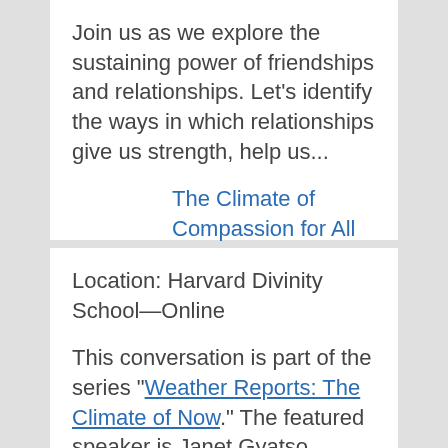Join us as we explore the sustaining power of friendships and relationships. Let's identify the ways in which relationships give us strength, help us...
The Climate of Compassion for All Beings
Location: Harvard Divinity School—Online
This conversation is part of the series "Weather Reports: The Climate of Now." The featured speaker is Janet Gyatso, Hershey Professor of Buddhist Studies and